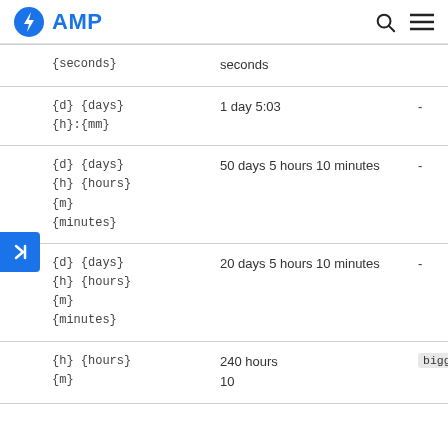AMP
| Format | Result | biggest-unit |
| --- | --- | --- |
| {seconds} | seconds |  |
| {d} {days}
{h}:{mm} | 1 day 5:03 | - |
| {d} {days}
{h} {hours}
{m}
{minutes} | 50 days 5 hours 10 minutes | - |
| {d} {days}
{h} {hours}
{m}
{minutes} | 20 days 5 hours 10 minutes | - |
| {h} {hours}
{m}... | 240 hours
10... | biggest-... |